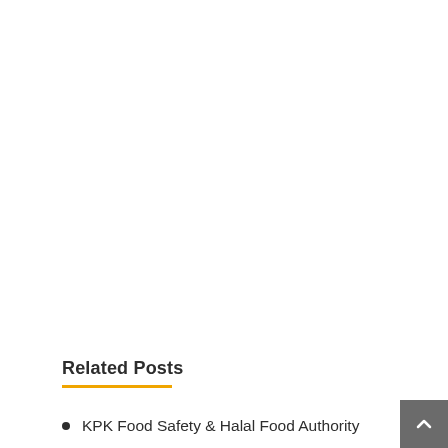Related Posts
KPK Food Safety & Halal Food Authority